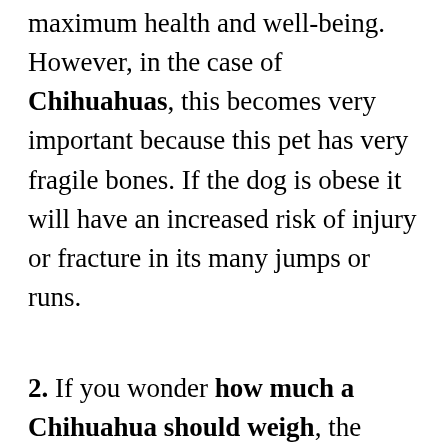maximum health and well-being. However, in the case of Chihuahuas, this becomes very important because this pet has very fragile bones. If the dog is obese it will have an increased risk of injury or fracture in its many jumps or runs.
2. If you wonder how much a Chihuahua should weigh, the answer is that the weight of the pet should be between 1.5 kilos and 2.7 kilos (which is the equivalent of 2lb 5 oz and 4lb 9 oz), trying as much as possible never to exceed 3 kilos (7 lb). This would be equivalent